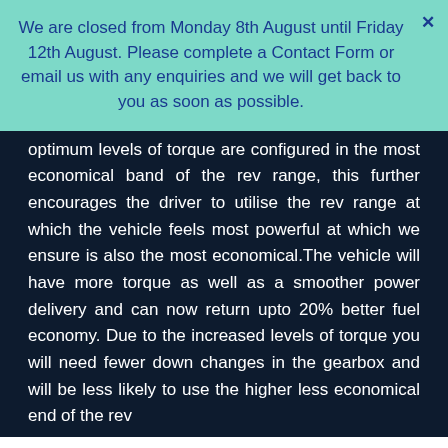We are closed from Monday 8th August until Friday 12th August. Please complete a Contact Form or email us with any enquiries and we will get back to you as soon as possible.
optimum levels of torque are configured in the most economical band of the rev range, this further encourages the driver to utilise the rev range at which the vehicle feels most powerful at which we ensure is also the most economical.The vehicle will have more torque as well as a smoother power delivery and can now return upto 20% better fuel economy. Due to the increased levels of torque you will need fewer down changes in the gearbox and will be less likely to use the higher less economical end of the rev